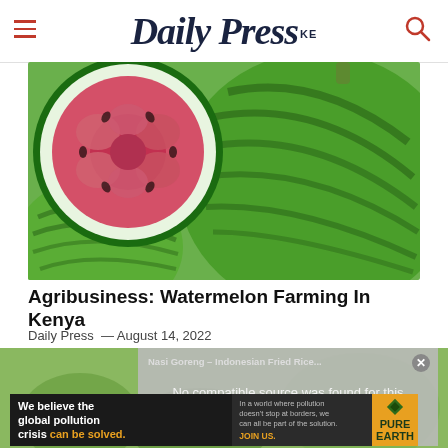Daily Press KE
[Figure (photo): Close-up photo of watermelons, one cut open showing red flesh carved into a rose shape, surrounded by whole green-striped watermelons]
Agribusiness: Watermelon Farming In Kenya
Daily Press — August 14, 2022
[Figure (screenshot): Video player overlay showing 'Nasi Goreng – Indonesian Fried Rice...' title with message 'No compatible source was found for this media.' and a close button]
[Figure (photo): Advertisement banner: 'We believe the global pollution crisis can be solved.' with Pure Earth logo]
NASI GORENG – INDONESIAN FRIED RICE